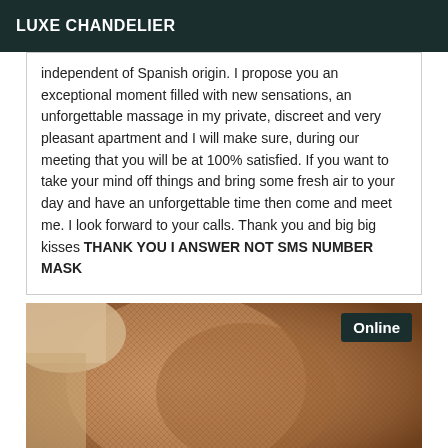LUXE CHANDELIER
independent of Spanish origin. I propose you an exceptional moment filled with new sensations, an unforgettable massage in my private, discreet and very pleasant apartment and I will make sure, during our meeting that you will be at 100% satisfied. If you want to take your mind off things and bring some fresh air to your day and have an unforgettable time then come and meet me. I look forward to your calls. Thank you and big big kisses THANK YOU I ANSWER NOT SMS NUMBER MASK
[Figure (photo): Close-up photo of a person's neck/shoulder area, appears to be wearing fishnet stockings or similar textured fabric. An 'Online' badge appears in the top right corner.]